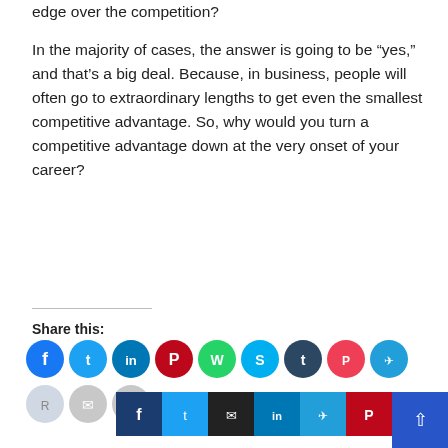edge over the competition?
In the majority of cases, the answer is going to be “yes,” and that’s a big deal. Because, in business, people will often go to extraordinary lengths to get even the smallest competitive advantage. So, why would you turn a competitive advantage down at the very onset of your career?
Share this:
[Figure (infographic): Row of social media share icon circles: Facebook (blue), Twitter (cyan), LinkedIn (teal), Pinterest (red), WhatsApp (green), Skype (light blue), Tumblr (dark navy), Pocket (pink-red), Telegram (blue). Second row: Reddit (light blue), Email (light gray), Print (light gray).]
[Figure (infographic): Bottom bar with social share buttons: Facebook (dark blue square), Twitter (blue square), Email (black square), LinkedIn (teal square), Telegram (blue square), Pinterest (red square), and a scroll-to-top button (royal blue square with up arrow).]